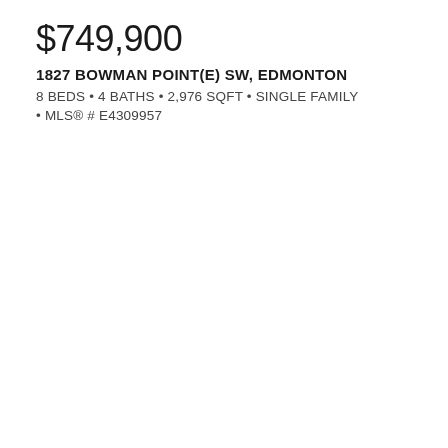$749,900
1827 BOWMAN POINT(E) SW, EDMONTON
8 BEDS • 4 BATHS • 2,976 SQFT • SINGLE FAMILY
• MLS® # E4309957